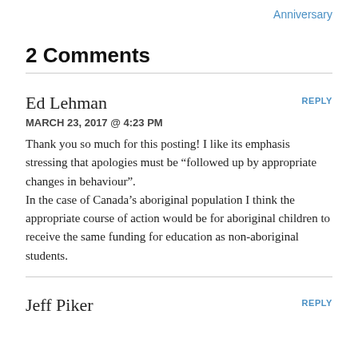Anniversary
2 Comments
Ed Lehman
MARCH 23, 2017 @ 4:23 PM
Thank you so much for this posting! I like its emphasis stressing that apologies must be “followed up by appropriate changes in behaviour”.
In the case of Canada’s aboriginal population I think the appropriate course of action would be for aboriginal children to receive the same funding for education as non-aboriginal students.
Jeff Piker